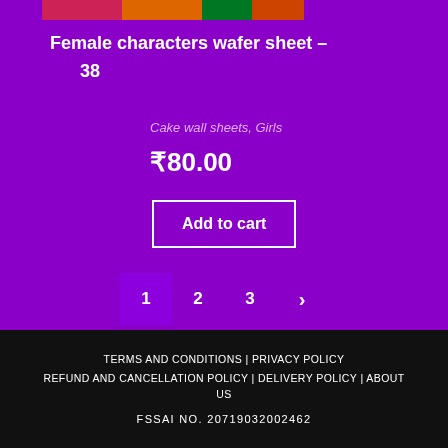[Figure (photo): Partial product image strip at top showing colorful female character wafer sheet]
Female characters wafer sheet – 38
Cake wall sheets, Girls
₹80.00
Add to cart
1  2  3  ›
TERMS AND CONDITIONS | PRIVACY POLICY
REFUND AND CANCELLATION POLICY | DELIVERY POLICY | ABOUT US
FSSAI NO. 20719032002462